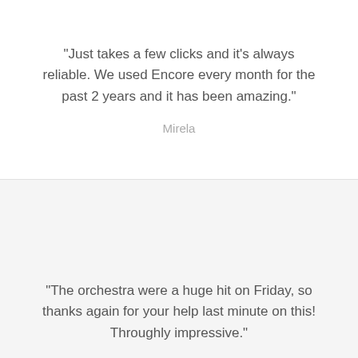“Just takes a few clicks and it’s always reliable. We used Encore every month for the past 2 years and it has been amazing.”
Mirela
“The orchestra were a huge hit on Friday, so thanks again for your help last minute on this! Throughly impressive.”